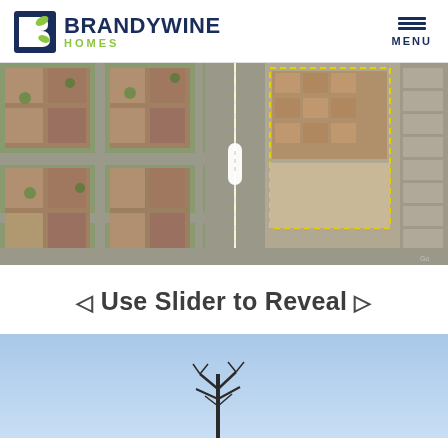BRANDYWINE HOMES — Menu navigation header
[Figure (photo): Aerial satellite view split image showing a residential neighborhood on the left side with suburban houses and grid streets, and on the right side a construction site/development area with new homes being built, separated by a vertical slider handle in the center]
◁ Use Slider to Reveal ▷
[Figure (photo): Partial bottom aerial or ground-level photo with blue sky background and a utility pole or tree silhouette visible at bottom center]